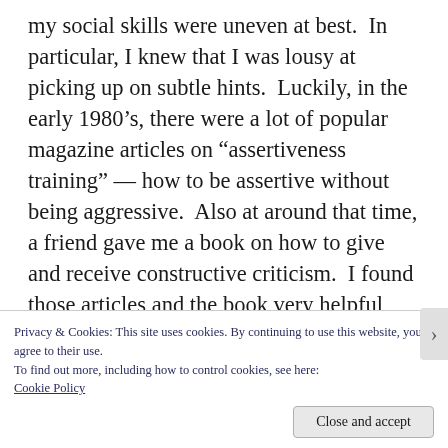my social skills were uneven at best.  In particular, I knew that I was lousy at picking up on subtle hints.  Luckily, in the early 1980's, there were a lot of popular magazine articles on “assertiveness training” — how to be assertive without being aggressive.  Also at around that time, a friend gave me a book on how to give and receive constructive criticism.  I found those articles and the book very helpful, not just as a guide to my own behavior but also, and even more importantly, as a guide
Privacy & Cookies: This site uses cookies. By continuing to use this website, you agree to their use.
To find out more, including how to control cookies, see here:
Cookie Policy
Close and accept